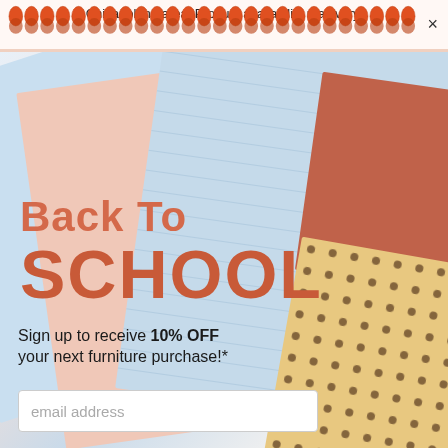Chicagoland area. Product availability may vary.
[Figure (photo): Back to school promotional image showing overlapping colorful notebooks/notepads in light blue, peach/salmon, and tan with a polka dot pattern, arranged on a white background]
Back To SCHOOL
Sign up to receive 10% OFF your next furniture purchase!*
email address